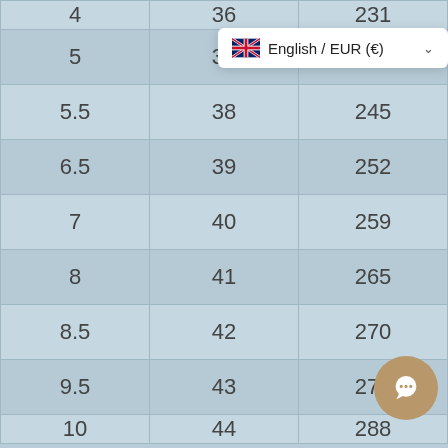| 4 | 36 | 231 |
| 5 | 37 | 238 |
| 5.5 | 38 | 245 |
| 6.5 | 39 | 252 |
| 7 | 40 | 259 |
| 8 | 41 | 265 |
| 8.5 | 42 | 270 |
| 9.5 | 43 | 278 |
| 10 | 44 | 288 |